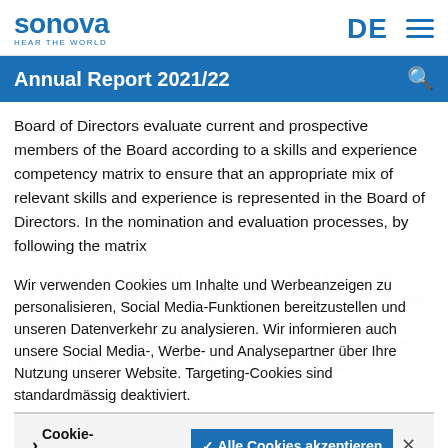sonova HEAR THE WORLD
Annual Report 2021/22
Board of Directors evaluate current and prospective members of the Board according to a skills and experience competency matrix to ensure that an appropriate mix of relevant skills and experience is represented in the Board of Directors. In the nomination and evaluation processes, by following the matrix
criteria, the Nomination and Compensation Committee
Wir verwenden Cookies um Inhalte und Werbeanzeigen zu personalisieren, Social Media-Funktionen bereitzustellen und unseren Datenverkehr zu analysieren. Wir informieren auch unsere Social Media-, Werbe- und Analysepartner über Ihre Nutzung unserer Website. Targeting-Cookies sind standardmässig deaktiviert.
Cookie-Einstellungen    ✓ Alle Cookies akzeptieren
As part of our ESG strategy, we strive to establish balance in terms of diversity and inclusion.